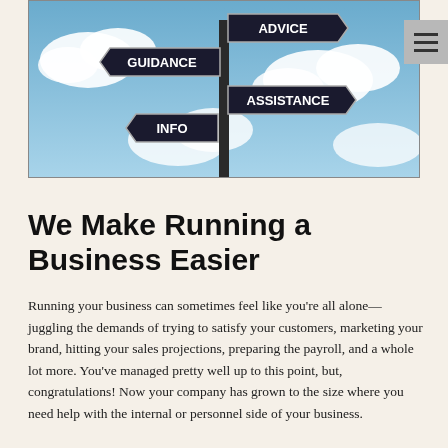[Figure (photo): Photo of a street sign post with multiple dark arrow signs pointing in different directions, labeled ADVICE, GUIDANCE, ASSISTANCE, INFO, against a blue sky with clouds background.]
We Make Running a Business Easier
Running your business can sometimes feel like you're all alone—juggling the demands of trying to satisfy your customers, marketing your brand, hitting your sales projections, preparing the payroll, and a whole lot more. You've managed pretty well up to this point, but, congratulations! Now your company has grown to the size where you need help with the internal or personnel side of your business.